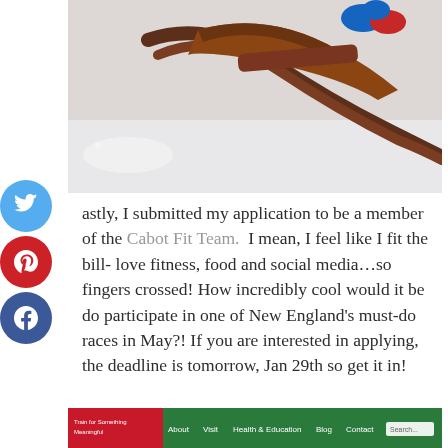[Figure (photo): Close-up photo of a wooden sled on snow, with colorful gloves/boots visible, warm brown tones with red and blue accents on a white snowy background.]
astly, I submitted my application to be a member of the Cabot Fit Team.  I mean, I feel like I fit the bill- love fitness, food and social media…so fingers crossed! How incredibly cool would it be do participate in one of New England's must-do races in May?! If you are interested in applying, the deadline is tomorrow, Jan 29th so get it in!
[Figure (screenshot): Partial screenshot of a website, appears to be the Cabot website with green header navigation bar showing About, Visit, Health & Education, Blog, Contact tabs and a search box.]